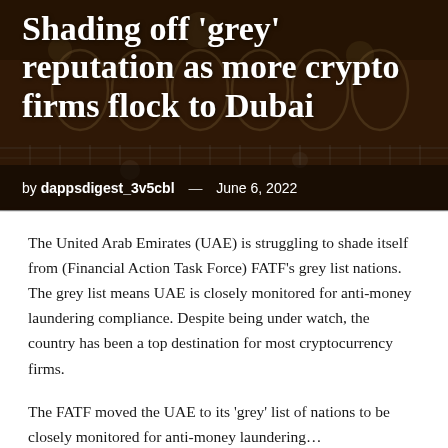Shading off 'grey' reputation as more crypto firms flock to Dubai
by dappsdigest_3v5cbl — June 6, 2022
The United Arab Emirates (UAE) is struggling to shade itself from (Financial Action Task Force) FATF's grey list nations. The grey list means UAE is closely monitored for anti-money laundering compliance. Despite being under watch, the country has been a top destination for most cryptocurrency firms.
The FATF moved the UAE to its 'grey' list of nations to be closely monitored for anti-money laundering…